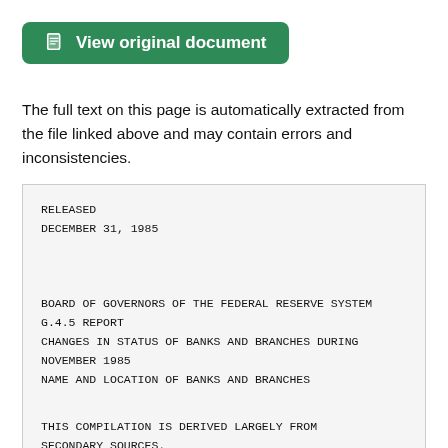[Figure (other): Green button labeled 'View original document' with a document icon]
The full text on this page is automatically extracted from the file linked above and may contain errors and inconsistencies.
RELEASED
DECEMBER 31, 1985




BOARD OF GOVERNORS OF THE FEDERAL RESERVE SYSTEM
G.4.5 REPORT
CHANGES IN STATUS OF BANKS AND BRANCHES DURING
NOVEMBER 1985
NAME AND LOCATION OF BANKS AND BRANCHES

THIS COMPILATION IS DERIVED LARGELY FROM
SECONDARY SOURCES.
IT IS NOT AN OFFICIAL REPORT OF CHANGES IN THE